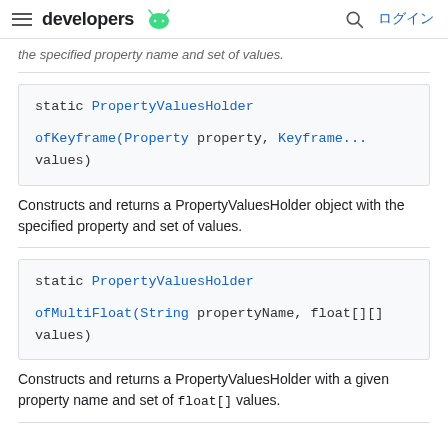≡ developers 🤖  🔍 ログイン
the specified property name and set of values.
static PropertyValuesHolder

ofKeyframe(Property property, Keyframe... values)

Constructs and returns a PropertyValuesHolder object with the specified property and set of values.
static PropertyValuesHolder

ofMultiFloat(String propertyName, float[][] values)

Constructs and returns a PropertyValuesHolder with a given property name and set of float[] values.